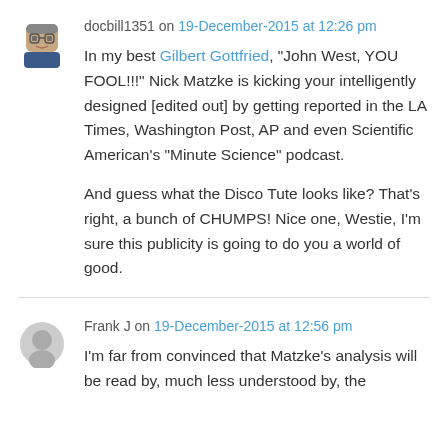docbill1351 on 19-December-2015 at 12:26 pm
In my best Gilbert Gottfried, “John West, YOU FOOL!!!” Nick Matzke is kicking your intelligently designed [edited out] by getting reported in the LA Times, Washington Post, AP and even Scientific American’s “Minute Science” podcast.
And guess what the Disco Tute looks like? That’s right, a bunch of CHUMPS! Nice one, Westie, I’m sure this publicity is going to do you a world of good.
Frank J on 19-December-2015 at 12:56 pm
I’m far from convinced that Matzke’s analysis will be read by, much less understood by, the